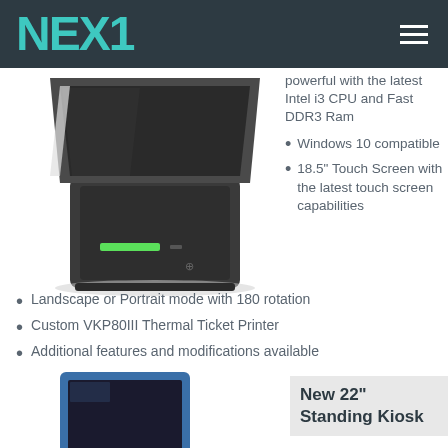NEXI
powerful with the latest Intel i3 CPU and Fast DDR3 Ram
Windows 10 compatible
18.5" Touch Screen with the latest touch screen capabilities
[Figure (photo): Dark angular kiosk device with green LED slot and folding screen]
Landscape or Portrait mode with 180 rotation
Custom VKP80III Thermal Ticket Printer
Additional features and modifications available
[Figure (photo): Blue-framed standing kiosk on a pedestal stand]
New 22" Standing Kiosk